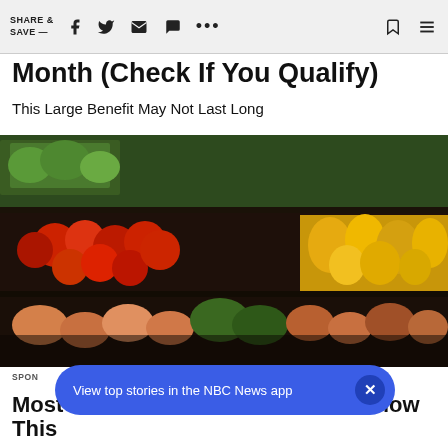SHARE & SAVE —
Month (Check If You Qualify)
This Large Benefit May Not Last Long
[Figure (photo): Grocery store produce aisle with colorful vegetables and fruits on shelves including red tomatoes, yellow corn, and green vegetables.]
SPON
Most Adults With Medicare Don't Know This
View top stories in the NBC News app